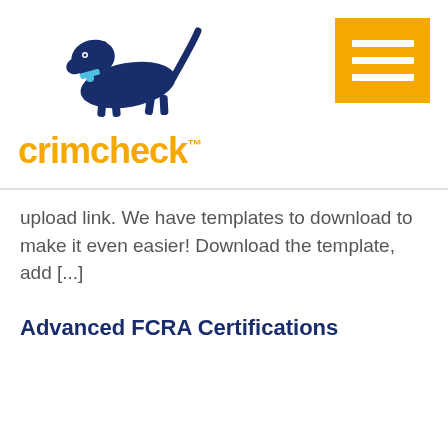[Figure (logo): Crimcheck logo with dark blue running dog silhouette and orange 'crimcheck' text with TM mark, plus orange hamburger menu button in top right]
upload link. We have templates to download to make it even easier! Download the template, add [...]
Advanced FCRA Certifications